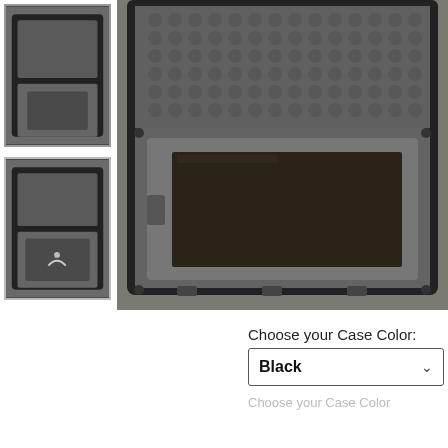[Figure (photo): Main product photo: open black pelican-style hard case with foam insert holding a large monitor/screen. The lid is open showing egg-crate foam. The bottom tray has a custom foam cutout with a dark screen panel visible.]
[Figure (photo): Thumbnail 1: overhead view of open black hard case with square foam cutout in the bottom tray.]
[Figure (photo): Thumbnail 2: overhead view of open black hard case with a device (monitor with stand) seated in the foam cutout.]
Choose your Case Color:
Black
Choose your Case Color